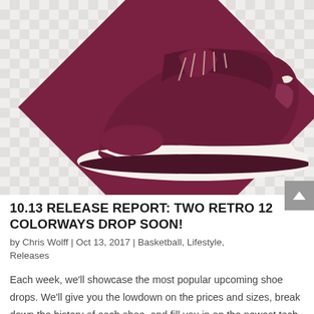[Figure (photo): Photo of a maroon/burgundy Air Jordan 12 Retro sneaker displayed against a checkered light grey background with a large maroon diamond shape behind the shoe.]
10.13 RELEASE REPORT: TWO RETRO 12 COLORWAYS DROP SOON!
by Chris Wolff | Oct 13, 2017 | Basketball, Lifestyle, Releases
Each week, we'll showcase the most popular upcoming shoe drops. We'll give you the lowdown on the prices and sizes, break down the history of each shoe, and fill you in on the newest tech features. Check back every week for the hottest shoe drops. If it's hyped, it's here.